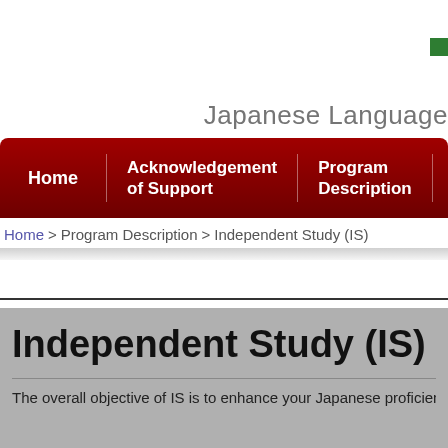Japanese Language
Home | Acknowledgement of Support | Program Description
Home > Program Description > Independent Study (IS)
Independent Study (IS)
The overall objective of IS is to enhance your Japanese proficien